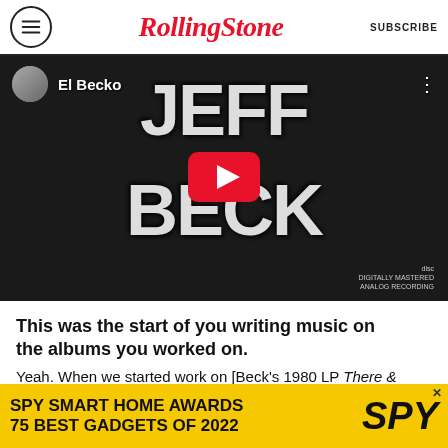Rolling Stone | SUBSCRIBE
[Figure (screenshot): YouTube video thumbnail for 'El Becko' channel showing Jeff Beck album art with large white text 'JEFF BECK' on black background and YouTube play button overlay]
This was the start of you writing music on the albums you worked on. Yeah. When we started work on [Beck's 1980 LP There & Back], we were rehearsing various tunes written by Jan Hammer and had brought Tony
[Figure (advertisement): SPY Smart Home Awards - 75 Best Gadgets of 2022 advertisement banner in yellow and black]